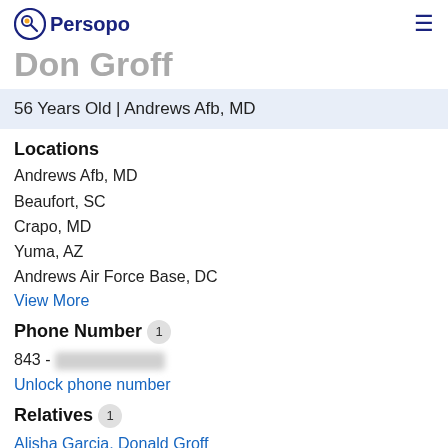Persopo
Don Groff
56 Years Old | Andrews Afb, MD
Locations
Andrews Afb, MD
Beaufort, SC
Crapo, MD
Yuma, AZ
Andrews Air Force Base, DC
View More
Phone Number 1
843 - [redacted]
Unlock phone number
Relatives 1
Alisha Garcia, Donald Groff
Address Details 5